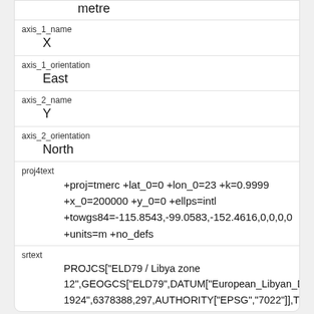| axis_1_name | X |
| axis_1_orientation | East |
| axis_2_name | Y |
| axis_2_orientation | North |
| proj4text | +proj=tmerc +lat_0=0 +lon_0=23 +k=0.9999
+x_0=200000 +y_0=0 +ellps=intl
+towgs84=-115.8543,-99.0583,-152.4616,0,0,0,0
+units=m +no_defs |
| srtext | PROJCS["ELD79 / Libya zone 12",GEOGCS["ELD79",DATUM["European_Libyan_D 1924",6378388,297,AUTHORITY["EPSG","7022"]],T |
| srid |  |